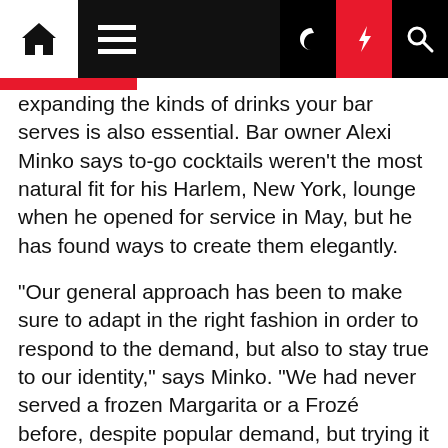[Navigation bar with home, menu, moon, bolt, and search icons]
expanding the kinds of drinks your bar serves is also essential. Bar owner Alexi Minko says to-go cocktails weren't the most natural fit for his Harlem, New York, lounge when he opened for service in May, but he has found ways to create them elegantly.
“Our general approach has been to make sure to adapt in the right fashion in order to respond to the demand, but also to stay true to our identity,” says Minko. “We had never served a frozen Margarita or a Frozé before, despite popular demand, but trying it out ended up being a great investment and paid off right away.”
MAKE TO-GO LOOK GOOD
Making the drinks look appealing and even fun to